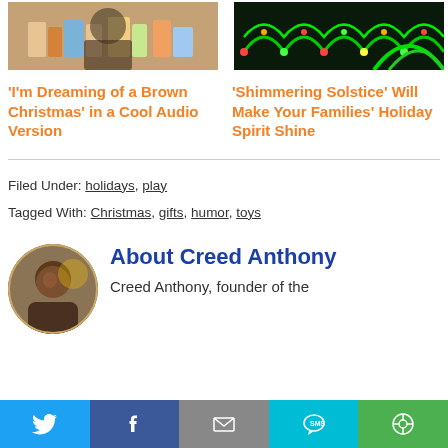[Figure (photo): Thumbnail image of books and toys on a shelf]
'I'm Dreaming of a Brown Christmas' in a Cool Audio Version
[Figure (photo): Thumbnail image of colorful holiday lights display]
'Shimmering Solstice' Will Make Your Families' Holiday Spirit Shine
Filed Under: holidays, play
Tagged With: Christmas, gifts, humor, toys
[Figure (photo): Circular avatar photo of Creed Anthony]
About Creed Anthony
Creed Anthony, founder of the